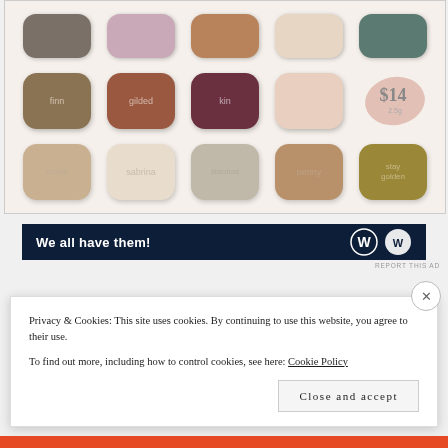[Figure (photo): Eyeshadow palette showing multiple shades in rows. Top row: dark grey, mauve/purple, copper/brown, pale nude, teal. Middle row: olive/khaki (finn), reddish-brown (gilded), deep burgundy (kin), pale peach (unnamed), rose smudge with $14 price tag. Bottom row: warm taupe (romie), ivory/cream (sabrina), muted grey-beige (stardust), copper-brown (penny), olive-gold (stay golden).]
[Figure (screenshot): Dark navy ad banner reading 'We all have them!' with a W logo and circular icon on the right.]
REPORT THIS AD
Privacy & Cookies: This site uses cookies. By continuing to use this website, you agree to their use.
To find out more, including how to control cookies, see here: Cookie Policy